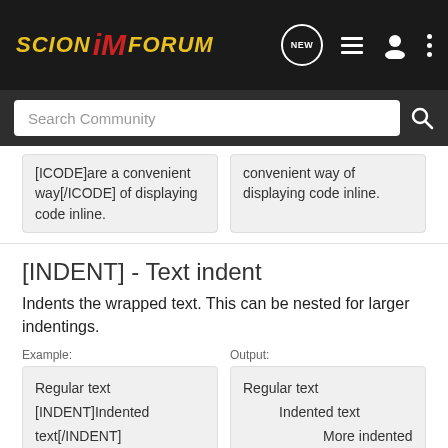Scion iM Forum
[ICODE]are a convenient way[/ICODE] of displaying code inline.
convenient way of displaying code inline.
[INDENT] - Text indent
Indents the wrapped text. This can be nested for larger indentings.
Example:
Regular text
[INDENT]Indented text[/INDENT]
[INDENT=2]More indented[/INDENT]
Output:
Regular text
Indented text
More indented